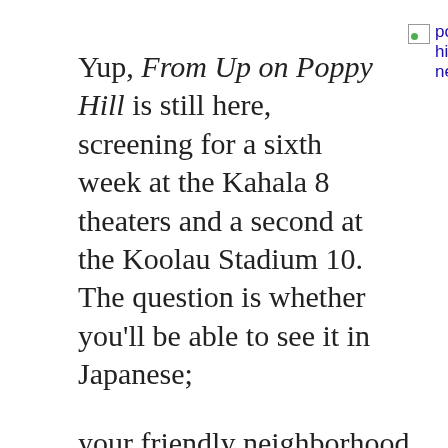Yup, From Up on Poppy Hill is still here, screening for a sixth week at the Kahala 8 theaters and a second at the Koolau Stadium 10. The question is whether you'll be able to see it in Japanese; your friendly neighborhood anime/manga blogger tried on Wednesday, visiting both the Koolau theaters and the Laie Palms Cinemas,
[Figure (photo): Broken image placeholder with alt text 'poppy hill new' shown as a small broken image icon followed by blue linked text]